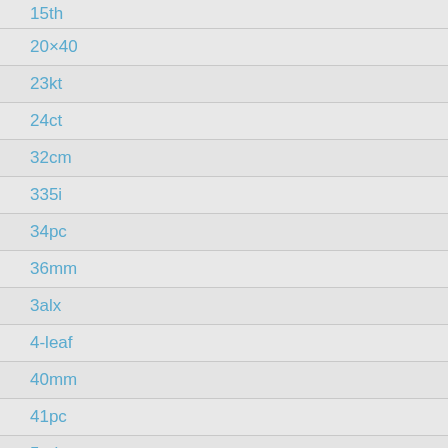15th
20×40
23kt
24ct
32cm
335i
34pc
36mm
3alx
4-leaf
40mm
41pc
5-piece